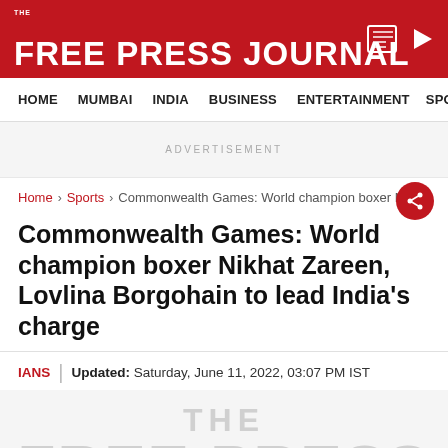THE FREE PRESS JOURNAL
HOME | MUMBAI | INDIA | BUSINESS | ENTERTAINMENT | SPO
ADVERTISEMENT
Home > Sports > Commonwealth Games: World champion boxer N...
Commonwealth Games: World champion boxer Nikhat Zareen, Lovlina Borgohain to lead India's charge
IANS | Updated: Saturday, June 11, 2022, 03:07 PM IST
[Figure (logo): THE FREE PRESS watermark logo in gray at the bottom of the page]